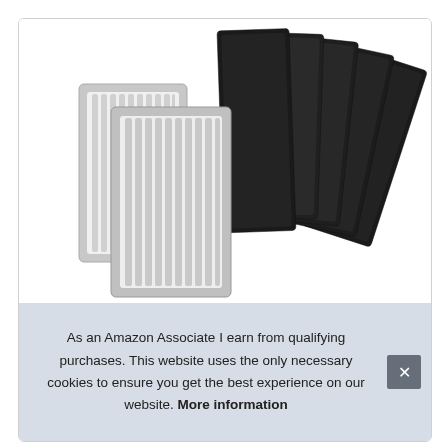[Figure (photo): Product photo showing two white rectangular air purifier HEPA filters with vertical ridges and gray frames, alongside five black carbon pre-filter pads fanned out behind them, on a white background.]
As an Amazon Associate I earn from qualifying purchases. This website uses the only necessary cookies to ensure you get the best experience on our website. More information